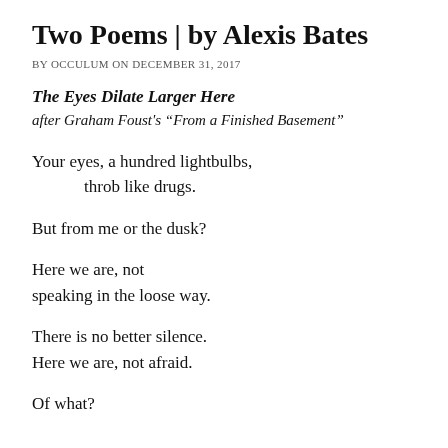Two Poems | by Alexis Bates
BY OCCULUM ON DECEMBER 31, 2017
The Eyes Dilate Larger Here
after Graham Foust's “From a Finished Basement”
Your eyes, a hundred lightbulbs,
        throb like drugs.
But from me or the dusk?
Here we are, not
speaking in the loose way.
There is no better silence.
Here we are, not afraid.
Of what?